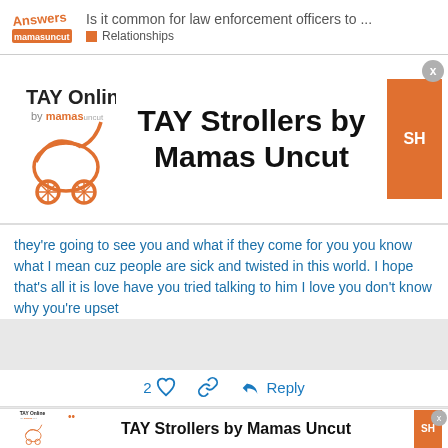Is it common for law enforcement officers to ... Relationships
[Figure (logo): TAY Online by Mamas Uncut advertisement banner with stroller logo and SH button]
they're going to see you and what if they come for you you know what I mean cuz people are sick and twisted in this world. I hope that's all it is love have you tried talking to him I love you don't know why you're upset
2  Reply
[Figure (logo): TAY Online by Mamas Uncut advertisement banner with stroller logo and SH button (second instance)]